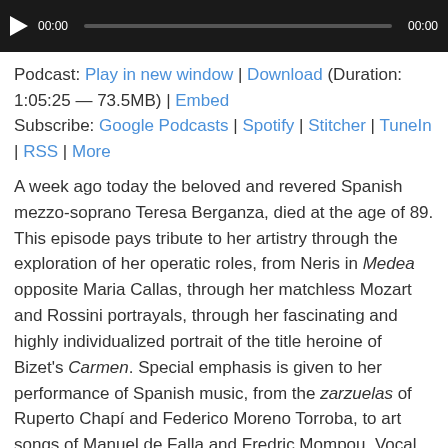[Figure (screenshot): Audio player with play button, current time 00:00, progress bar, and duration 00:00 on dark background]
Podcast: Play in new window | Download (Duration: 1:05:25 — 73.5MB) | Embed
Subscribe: Google Podcasts | Spotify | Stitcher | TuneIn | RSS | More
A week ago today the beloved and revered Spanish mezzo-soprano Teresa Berganza, died at the age of 89. This episode pays tribute to her artistry through the exploration of her operatic roles, from Neris in Medea opposite Maria Callas, through her matchless Mozart and Rossini portrayals, through her fascinating and highly individualized portrait of the title heroine of Bizet's Carmen. Special emphasis is given to her performance of Spanish music, from the zarzuelas of Ruperto Chapí and Federico Moreno Torroba, to art songs of Manuel de Falla and Fredric Mompou. Vocal guest stars include Mirella Freni, Pilar Lorengar, Lola